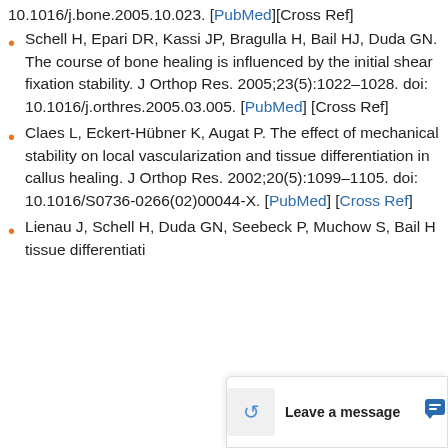10.1016/j.bone.2005.10.023. [PubMed][Cross Ref]
Schell H, Epari DR, Kassi JP, Bragulla H, Bail HJ, Duda GN. The course of bone healing is influenced by the initial shear fixation stability. J Orthop Res. 2005;23(5):1022–1028. doi: 10.1016/j.orthres.2005.03.005. [PubMed] [Cross Ref]
Claes L, Eckert-Hübner K, Augat P. The effect of mechanical stability on local vascularization and tissue differentiation in callus healing. J Orthop Res. 2002;20(5):1099–1105. doi: 10.1016/S0736-0266(02)00044-X. [PubMed] [Cross Ref]
Lienau J, Schell H, Duda GN, Seebeck P, Muchow S, Bail H... tissue differentiati...